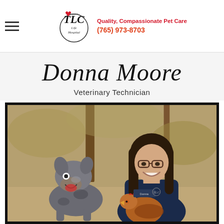Logan's TLC Life Hospital – Quality, Compassionate Pet Care – (765) 973-8703
Donna Moore
Veterinary Technician
[Figure (photo): Professional photo of Donna Moore, a woman with dark hair and glasses wearing a navy TLC scrub top, smiling while holding a brown chicken/hen. An Australian Cattle Dog (blue heeler) sits beside her. Photo taken outdoors with natural background vegetation. She is wearing a name badge reading 'Donna'.]